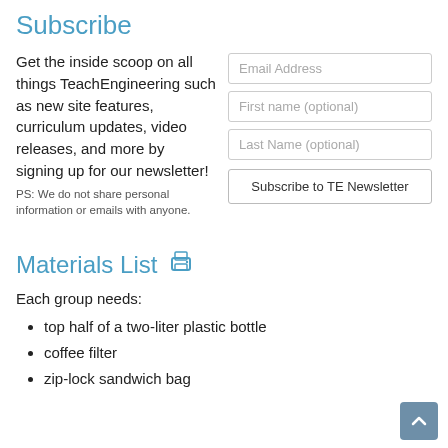Subscribe
Get the inside scoop on all things TeachEngineering such as new site features, curriculum updates, video releases, and more by signing up for our newsletter!
PS: We do not share personal information or emails with anyone.
Email Address
First name (optional)
Last Name (optional)
Subscribe to TE Newsletter
Materials List
Each group needs:
top half of a two-liter plastic bottle
coffee filter
zip-lock sandwich bag